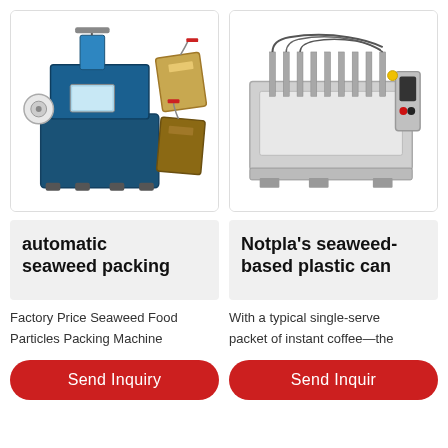[Figure (photo): Automatic seaweed packing machine with tea bag samples shown]
[Figure (photo): Industrial filling/packing machine with multiple nozzles]
automatic seaweed packing
Notpla's seaweed-based plastic can
Factory Price Seaweed Food Particles Packing Machine
With a typical single-serve packet of instant coffee—the
Send Inquiry
Send Inquiry